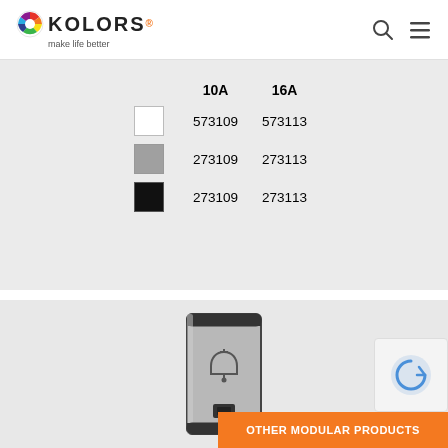KOLORS make life better
|  | 10A | 16A |
| --- | --- | --- |
| white | 573109 | 573113 |
| grey | 273109 | 273113 |
| black | 273109 | 273113 |
[Figure (photo): Silver/grey modular bell push switch with bell icon and indicator light]
OTHER MODULAR PRODUCTS